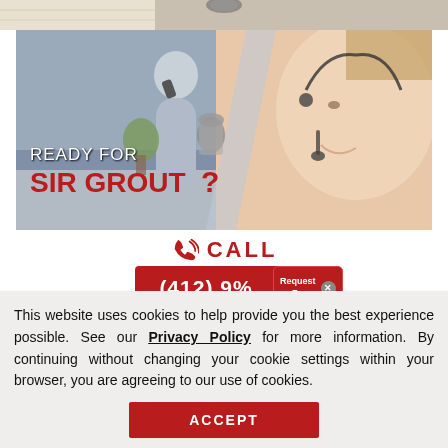[Figure (photo): Top partial image strip showing a flooring/grout product on a light wood surface]
[Figure (photo): Promotional banner image showing a person on a phone (left) and a smiling woman with a headset (right) with text 'READY FOR SIR GROUT?' overlaid in white and red bold letters]
[Figure (infographic): Call-to-action section with a red phone icon, 'CALL' text in red, and a red button showing phone number (412) 9... with a 'Request a Free' overlay popup with close button]
This website uses cookies to help provide you the best experience possible. See our Privacy Policy for more information. By continuing without changing your cookie settings within your browser, you are agreeing to our use of cookies.
ACCEPT